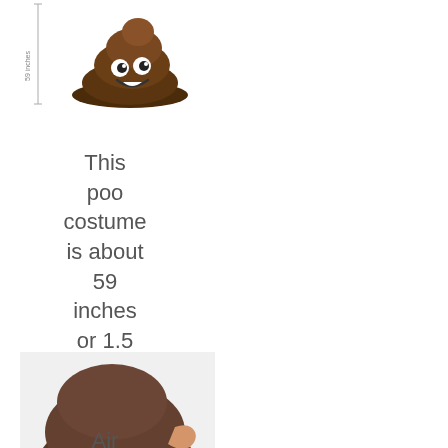[Figure (illustration): Cartoon poo emoji costume illustration showing a smiling brown poo character with white eyes and googly eyes, with measurement lines indicating height]
This poo costume is about 59 inches or 1.5 meters tall
[Figure (photo): Photo of a person wearing an inflatable brown poo costume, showing the person crouching inside the large brown inflatable suit with an orange inflation mechanism visible]
Air